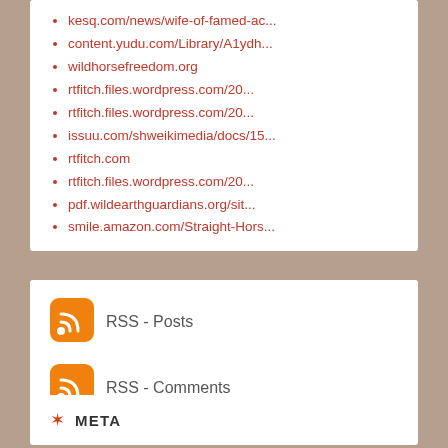kesq.com/news/wife-of-famed-ac...
content.yudu.com/Library/A1ydh...
wildhorsefreedom.org
rtfitch.files.wordpress.com/20...
rtfitch.files.wordpress.com/20...
issuu.com/shweikimedia/docs/15...
rtfitch.com
rtfitch.files.wordpress.com/20...
pdf.wildearthguardians.org/sit...
smile.amazon.com/Straight-Hors...
[Figure (other): RSS icon - orange rounded square with WiFi/RSS signal symbol]
RSS - Posts
[Figure (other): RSS icon - orange rounded square with WiFi/RSS signal symbol]
RSS - Comments
META